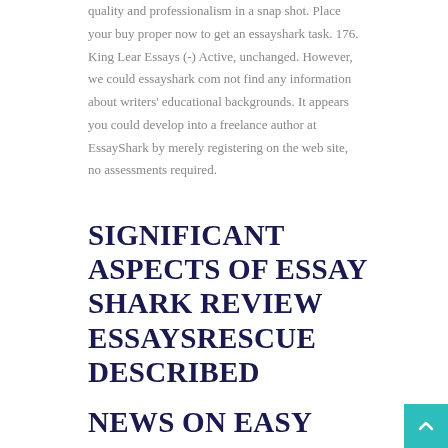quality and professionalism in a snap shot. Place your buy proper now to get an essayshark task. 176. King Lear Essays (-) Active, unchanged. However, we could essayshark com not find any information about writers' educational backgrounds. It appears you could develop into a freelance author at EssayShark by merely registering on the web site, no assessments required.
SIGNIFICANT ASPECTS OF ESSAY SHARK REVIEW ESSAYSRESCUE DESCRIBED
NEWS ON EASY